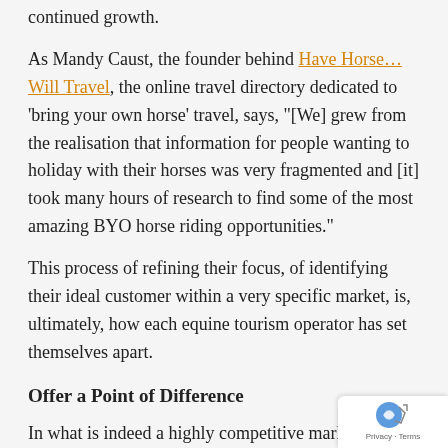continued growth.
As Mandy Caust, the founder behind Have Horse...Will Travel, the online travel directory dedicated to 'bring your own horse' travel, says, "[We] grew from the realisation that information for people wanting to holiday with their horses was very fragmented and [it] took many hours of research to find some of the most amazing BYO horse riding opportunities."
This process of refining their focus, of identifying their ideal customer within a very specific market, is, ultimately, how each equine tourism operator has set themselves apart.
Offer a Point of Difference
In what is indeed a highly competitive market internationally, creating a solid point of difference – e... in the location, the type of horse or the type of exper... on offer – is critical to sustaining business, both short-term...